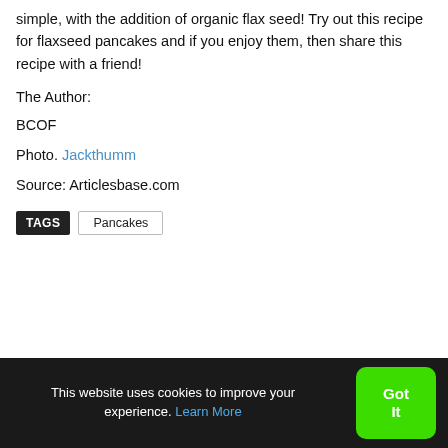simple, with the addition of organic flax seed! Try out this recipe for flaxseed pancakes and if you enjoy them, then share this recipe with a friend!
The Author:
BCOF
Photo. Jackthumm
Source: Articlesbase.com
TAGS  Pancakes
This website uses cookies to improve your experience. Learn More  Got It